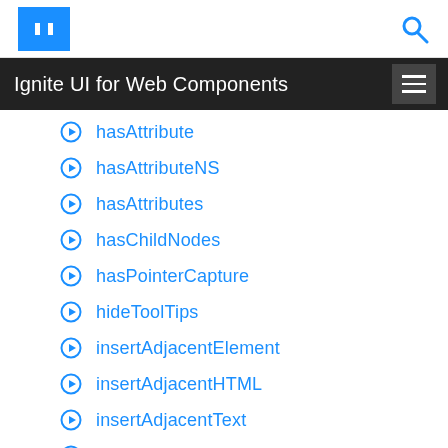Ignite UI for Web Components
hasAttribute
hasAttributeNS
hasAttributes
hasChildNodes
hasPointerCapture
hideToolTips
insertAdjacentElement
insertAdjacentHTML
insertAdjacentText
insertBefore
isDefaultNamespace